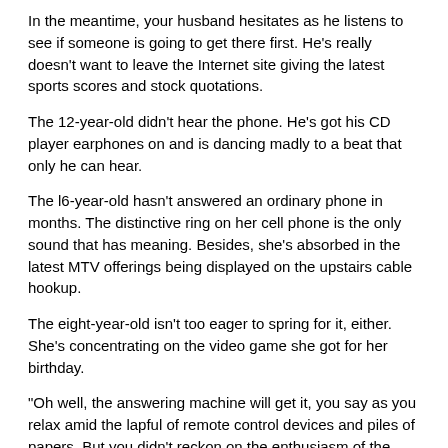In the meantime, your husband hesitates as he listens to see if someone is going to get there first. He's really doesn't want to leave the Internet site giving the latest sports scores and stock quotations.
The 12-year-old didn't hear the phone. He's got his CD player earphones on and is dancing madly to a beat that only he can hear.
The l6-year-old hasn't answered an ordinary phone in months. The distinctive ring on her cell phone is the only sound that has meaning. Besides, she's absorbed in the latest MTV offerings being displayed on the upstairs cable hookup.
The eight-year-old isn't too eager to spring for it, either. She's concentrating on the video game she got for her birthday.
"Oh well, the answering machine will get it, you say as you relax amid the lapful of remote control devices and piles of papers. But you didn't reckon on the enthusiasm of the three-year-old. He's been able to turn the television on and off and insert a video cassette in the VCR for almost a year, but the telephone is still a challenge. Of course his piping, immature voice may be a little soft for the caller to hear. But he knows how to say, "Mommy, it's for you."